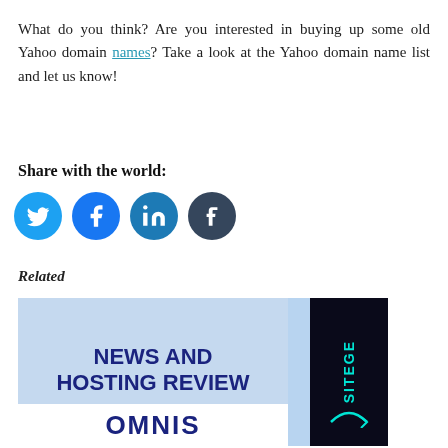What do you think? Are you interested in buying up some old Yahoo domain names? Take a look at the Yahoo domain name list and let us know!
Share with the world:
[Figure (illustration): Four social media share buttons: Twitter (light blue circle), Facebook (blue circle), LinkedIn (teal circle), Tumblr (dark grey circle)]
Related
[Figure (illustration): A related article image showing 'NEWS AND HOSTING REVIEW' text in dark blue on a light blue background, with a dark sidebar showing 'SITEGE' vertically in cyan, and partial 'OMNIS' text at the bottom]